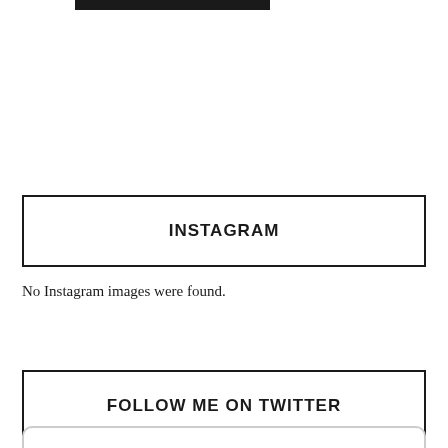[Figure (other): Black bar/banner at the top of the page, partial view]
[Figure (other): WordPress Follow button with W circle icon and text 'Follow A Cuppa Cosy' in cyan/blue color]
INSTAGRAM
No Instagram images were found.
FOLLOW ME ON TWITTER
[Figure (other): Partial rounded rectangle box at the bottom, beginning of a Twitter widget]